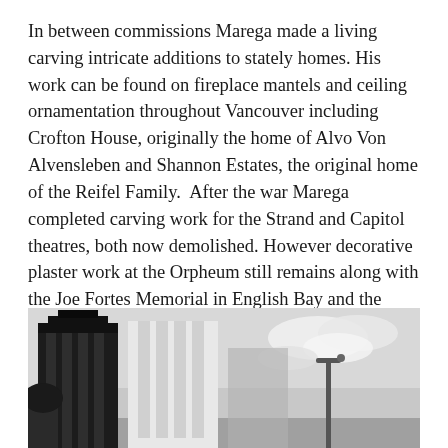In between commissions Marega made a living carving intricate additions to stately homes. His work can be found on fireplace mantels and ceiling ornamentation throughout Vancouver including Crofton House, originally the home of Alvo Von Alvensleben and Shannon Estates, the original home of the Reifel Family.  After the war Marega completed carving work for the Strand and Capitol theatres, both now demolished. However decorative plaster work at the Orpheum still remains along with the Joe Fortes Memorial in English Bay and the President Harding Memorial in Stanley Park. Commuters taking the Burrard Bridge drive under Marega's work each day as the busts of George Vancouver and Henry Burrard, as well as the city crest, were also his commissions.
[Figure (photo): Black and white photograph showing an Art Deco style building with vertical striped columns on the left side and a lighter colored rectangular building in the center. A street lamp is visible on the right side against a cloudy sky.]